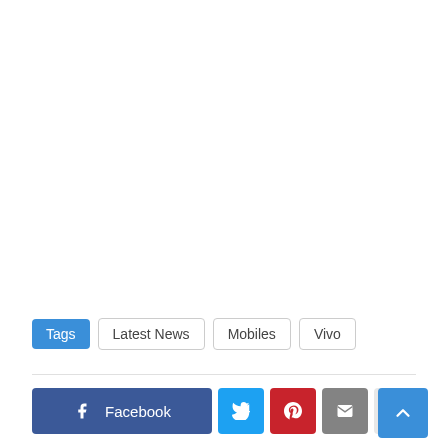Tags  Latest News  Mobiles  Vivo
[Figure (infographic): Social sharing buttons row: Facebook (blue), Twitter (light blue), Pinterest (red), Email (gray), More (+) (light gray). Up arrow button (blue) on the right.]